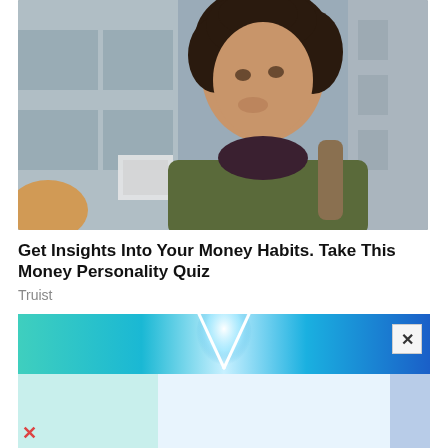[Figure (photo): A young woman with curly hair and a backpack looking upward and smiling, standing in front of a building with large windows, wearing an olive jacket and dark top.]
Get Insights Into Your Money Habits. Take This Money Personality Quiz
Truist
[Figure (screenshot): Advertisement banner with teal and blue gradient background showing a glowing V-shaped light graphic, with an X close button in the upper right. Below is a partially loaded white/light blue ad area with left teal panel and right blue accent.]